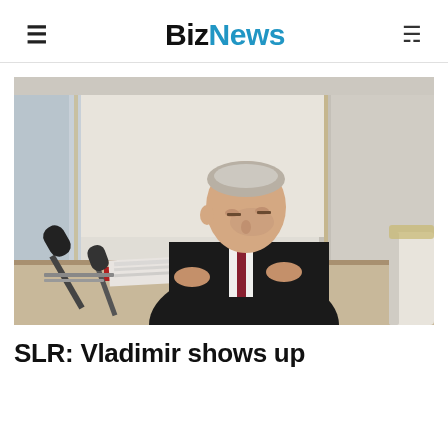BizNews
[Figure (photo): A man in a dark suit reading documents at a table with microphones, in an ornate room with white marble columns. He is leafing through a thick stack of papers in a red folder.]
SLR: Vladimir shows up